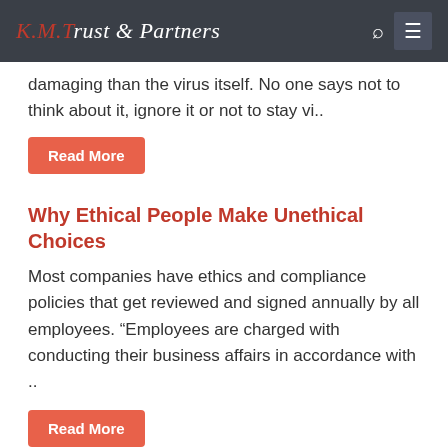K.M.Trust & Partners
damaging than the virus itself. No one says not to think about it, ignore it or not to stay vi..
Read More
Why Ethical People Make Unethical Choices
Most companies have ethics and compliance policies that get reviewed and signed annually by all employees. “Employees are charged with conducting their business affairs in accordance with ..
Read More
The Ethical Mind
If you're running a large company, don't expect the public to like you. Soaring executive pay packages